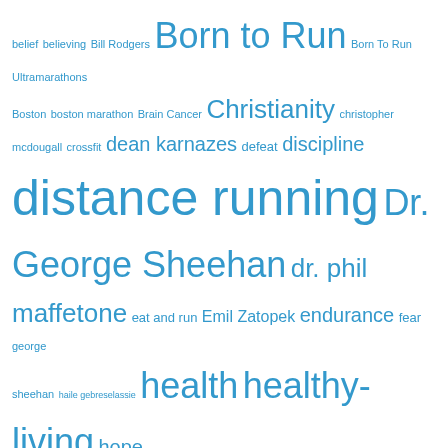[Figure (infographic): Tag cloud of running-related topics and names in various font sizes, all in blue. Larger text indicates more frequent/popular tags. Tags include: belief, believing, Bill Rodgers, Born to Run, Born To Run Ultramarathons, Boston, boston marathon, Brain Cancer, Christianity, christopher mcdougall, crossfit, dean karnazes, defeat, discipline, distance running, Dr. George Sheehan, dr. phil maffetone, eat and run, Emil Zatopek, endurance, fear, george sheehan, haile gebreselassie, health, healthy-living, hope, hubris, humility, Injury, inspiration, intervals, Ironman, Jesus Christ, Joan Benoit Samuelson, Lance Armstrong, Lasse Viren, Luis Escobar, Luna Sandals, marathon, Mark Allen, Morgan Uceny, mt. everest, olympic trials, patrick reed, perseverance, podcasts, push-ups, racing, Run, running, Running and Being, running gear, running injury, running streak, Scott Jurek, sports, steve prefontaine, technology, The Boston Marathon, The Run5kaday Plan, trail running]